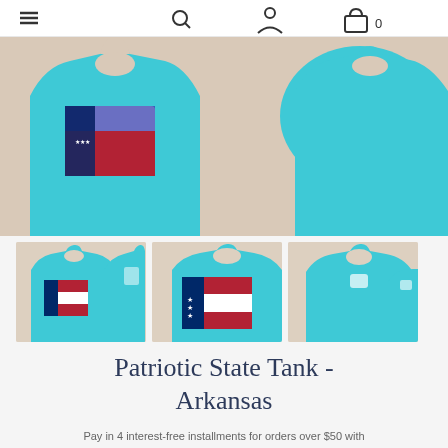Navigation bar with menu, search, account, and cart icons
[Figure (photo): Close-up product photo of a teal/turquoise patriotic state tank top laid flat, showing the Arkansas state shape with American flag design on the front, on a beige background]
[Figure (photo): Thumbnail 1: Two teal tank tops showing front and back views with Arkansas flag design]
[Figure (photo): Thumbnail 2: Close-up of the Arkansas state shape with American flag design on teal tank top]
[Figure (photo): Thumbnail 3: Front and back view of plain teal tank top]
Patriotic State Tank - Arkansas
Pay in 4 interest-free installments for orders over $50 with